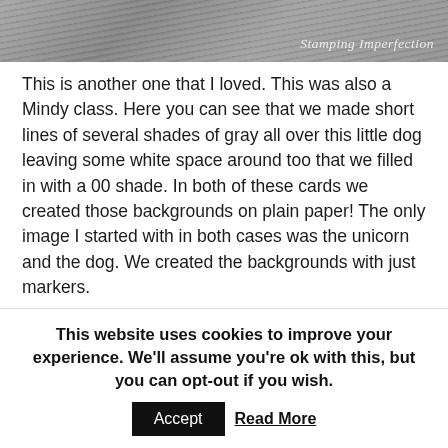[Figure (photo): A close-up photo of what appears to be a textured surface with a watermark reading 'Stamping Imperfection' in the bottom right corner]
This is another one that I loved.  This was also a Mindy class.  Here you can see that we made short lines of several shades of gray all over this little dog leaving some white space around too that we filled in with a 00 shade.  In both of these cards we created those backgrounds on plain paper!  The only image I started with in both cases was the unicorn and the dog.  We created the backgrounds with just markers.
I still find hair and fur a challenge and practice any chance that I get.  I'm learning that you don't always have to cover the entire image, you just need to give a hint of fur or fluff with many shades to get the look you are going for.
I can highly recommend Mindy's classes if you are looking to take
This website uses cookies to improve your experience. We'll assume you're ok with this, but you can opt-out if you wish.
Accept  Read More